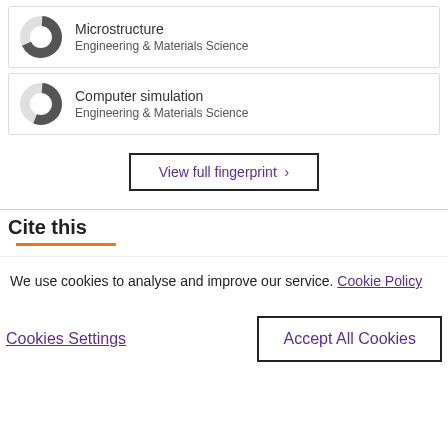Microstructure
Engineering & Materials Science
Computer simulation
Engineering & Materials Science
View full fingerprint >
Cite this
We use cookies to analyse and improve our service. Cookie Policy
Cookies Settings
Accept All Cookies